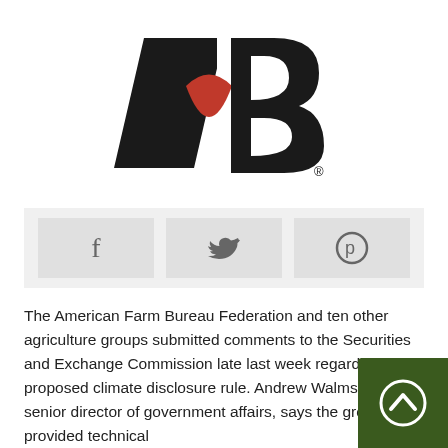[Figure (logo): American Farm Bureau Federation logo — stylized FB letters in black with a red leaf accent and registered trademark symbol]
[Figure (infographic): Social sharing bar with three buttons: Facebook (f icon), Twitter (bird icon), Pinterest (circle P icon), on a light grey background]
The American Farm Bureau Federation and ten other agriculture groups submitted comments to the Securities and Exchange Commission late last week regarding its proposed climate disclosure rule. Andrew Walmsley, AFBF senior director of government affairs, says the groups provided technical